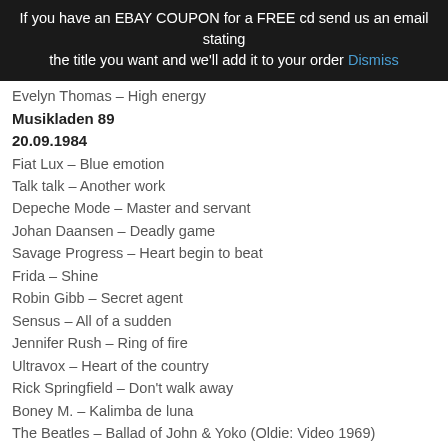If you have an EBAY COUPON for a FREE cd send us an email stating the title you want and we'll add it to your order Dismiss
Evelyn Thomas – High energy
Musikladen 89
20.09.1984
Fiat Lux – Blue emotion
Talk talk – Another work
Depeche Mode – Master and servant
Johan Daansen – Deadly game
Savage Progress – Heart begin to beat
Frida – Shine
Robin Gibb – Secret agent
Sensus – All of a sudden
Jennifer Rush – Ring of fire
Ultravox – Heart of the country
Rick Springfield – Don't walk away
Boney M. – Kalimba de luna
The Beatles – Ballad of John & Yoko (Oldie: Video 1969)
Chico Johnson – Hula hoop
Musikladen 90
29.11.1984
Supermax – Number one in my heart